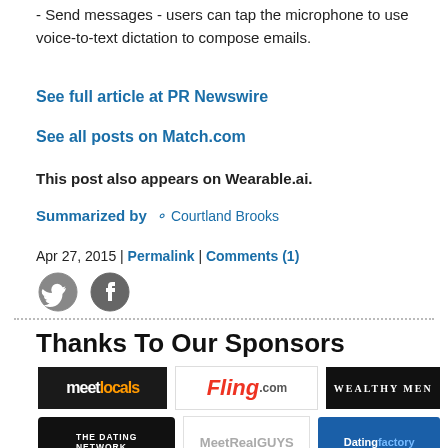- Send messages - users can tap the microphone to use voice-to-text dictation to compose emails.
See full article at PR Newswire
See all posts on Match.com
This post also appears on Wearable.ai.
Summarized by Courtland Brooks
Apr 27, 2015 | Permalink | Comments (1)
[Figure (logo): Twitter and Facebook social share icons]
Thanks To Our Sponsors
[Figure (logo): Sponsor logos: meetlocals, Fling.com, WEALTHY MEN, The Dating Network, MeetRealGUYS, DatingFactory, Crush, MillionaireMatch, VIP SINGLES, Instinct, beehiveID]